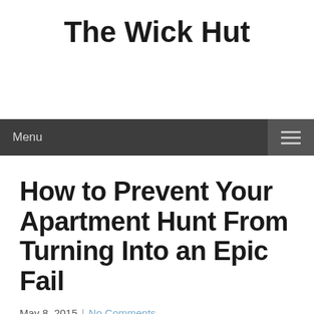The Wick Hut
Menu
How to Prevent Your Apartment Hunt From Turning Into an Epic Fail
May 8, 2015  |  No Comments